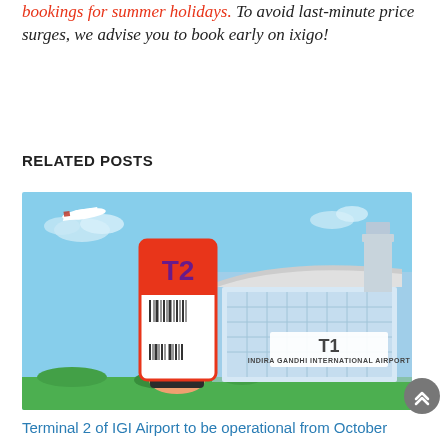bookings for summer holidays. To avoid last-minute price surges, we advise you to book early on ixigo!
RELATED POSTS
[Figure (illustration): Illustration showing a hand holding a boarding pass for Terminal T2 against a background of Indira Gandhi International Airport Terminal T1 building with a plane flying above.]
Terminal 2 of IGI Airport to be operational from October